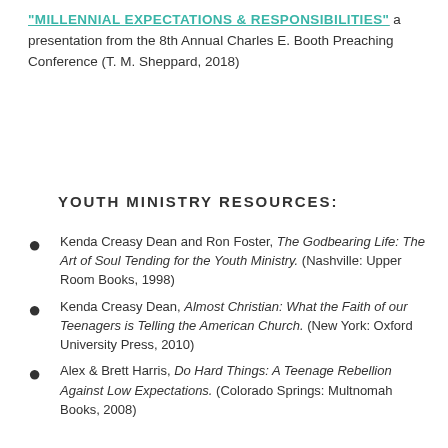"MILLENNIAL EXPECTATIONS & RESPONSIBILITIES" a presentation from the 8th Annual Charles E. Booth Preaching Conference (T. M. Sheppard, 2018)
YOUTH MINISTRY RESOURCES:
Kenda Creasy Dean and Ron Foster, The Godbearing Life: The Art of Soul Tending for the Youth Ministry. (Nashville: Upper Room Books, 1998)
Kenda Creasy Dean, Almost Christian: What the Faith of our Teenagers is Telling the American Church. (New York: Oxford University Press, 2010)
Alex & Brett Harris, Do Hard Things: A Teenage Rebellion Against Low Expectations. (Colorado Springs: Multnomah Books, 2008)